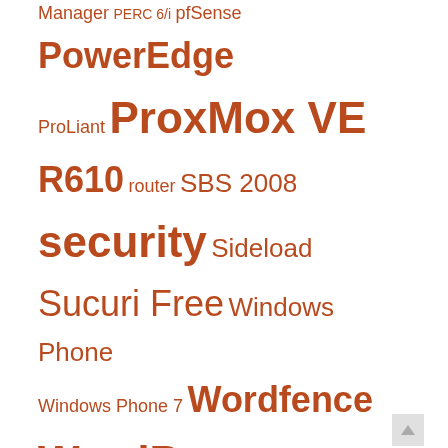Manager PERC 6/i pfSense PowerEdge ProLiant ProxMox VE R610 router SBS 2008 security Sideload Sucuri Free Windows Phone Windows Phone 7 Wordfence WordPress WP7
ARCHIVES
May 2022
April 2022
February 2022
January 2022
December 2021
November 2021
October 2021
September 2021